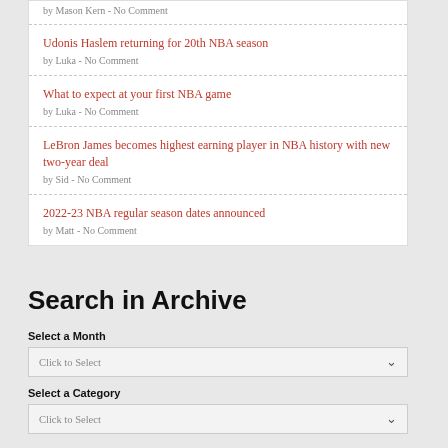by Mason Kern - No Comment
Udonis Haslem returning for 20th NBA season
by Luka - No Comment
What to expect at your first NBA game
by Luka - No Comment
LeBron James becomes highest earning player in NBA history with new two-year deal
by Sid - No Comment
2022-23 NBA regular season dates announced
by Matt - No Comment
Search in Archive
Select a Month
Click to Select
Select a Category
Click to Select